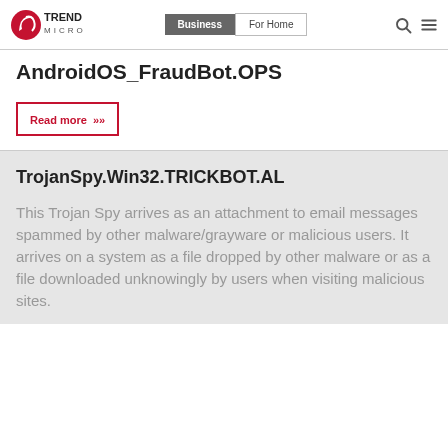[Figure (logo): Trend Micro logo with red circle and white arrow icon, text TREND MICRO]
Business | For Home
AndroidOS_FraudBot.OPS
Read more »
TrojanSpy.Win32.TRICKBOT.AL
This Trojan Spy arrives as an attachment to email messages spammed by other malware/grayware or malicious users. It arrives on a system as a file dropped by other malware or as a file downloaded unknowingly by users when visiting malicious sites.